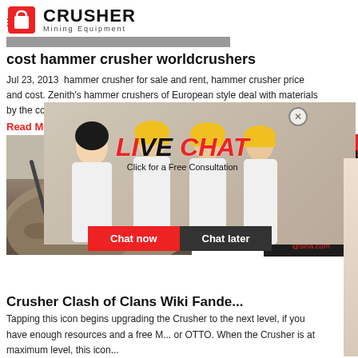CRUSHER Mining Equipment
cost hammer crusher worldcrushers
Jul 23, 2013  hammer crusher for sale and rent, hammer crusher price and cost. Zenith's hammer crushers of European style deal with materials by the collis... high-speed ... Hammer Cr...
Read More
[Figure (photo): Quarry/gravel mining site with conveyor belts and crushed stone]
Crusher Clash of Clans Wiki Fande...
Tapping this icon begins upgrading the Crusher to the next level, if you have enough resources and a free M... or OTTO. When the Crusher is at maximum level, this icon...
[Figure (other): Live Chat overlay with workers in hard hats, LIVE CHAT heading, Click for a Free Consultation text, Chat now and Chat later buttons, and customer service representative with headset]
[Figure (other): Sidebar panel with 24Hrs Online badge, Need questions & suggestion? text, Chat Now button, Enquiry section, and limingjlmofen@sina.com email]